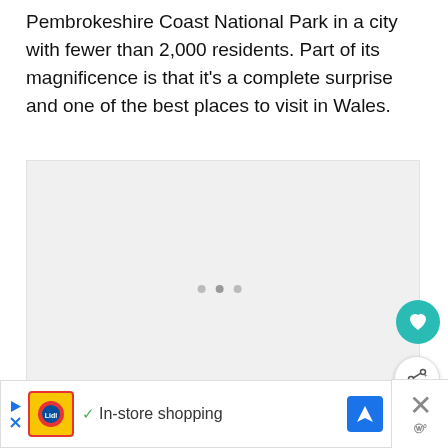Pembrokeshire Coast National Park in a city with fewer than 2,000 residents. Part of its magnificence is that it's a complete surprise and one of the best places to visit in Wales.
[Figure (photo): Image placeholder / carousel with loading dots indicator]
[Figure (screenshot): Advertisement banner: Lidl logo with 'In-store shopping' text and navigation icon, with a close button on the right]